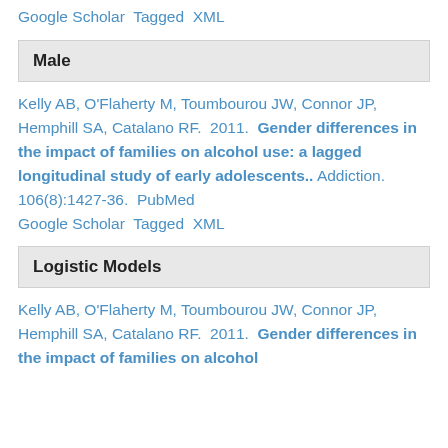Google Scholar  Tagged  XML
Male
Kelly AB, O'Flaherty M, Toumbourou JW, Connor JP, Hemphill SA, Catalano RF.  2011.  Gender differences in the impact of families on alcohol use: a lagged longitudinal study of early adolescents..  Addiction. 106(8):1427-36.  PubMed  Google Scholar  Tagged  XML
Logistic Models
Kelly AB, O'Flaherty M, Toumbourou JW, Connor JP, Hemphill SA, Catalano RF.  2011.  Gender differences in the impact of families on alcohol